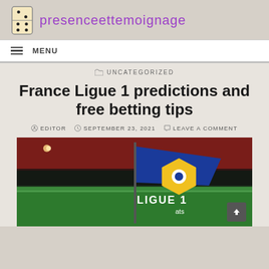presenceettemoignage
MENU
UNCATEGORIZED
France Ligue 1 predictions and free betting tips
EDITOR  SEPTEMBER 23, 2021  LEAVE A COMMENT
[Figure (photo): A person holding a blue and yellow Ligue 1 corner flag on a football pitch, stadium seating visible in background]